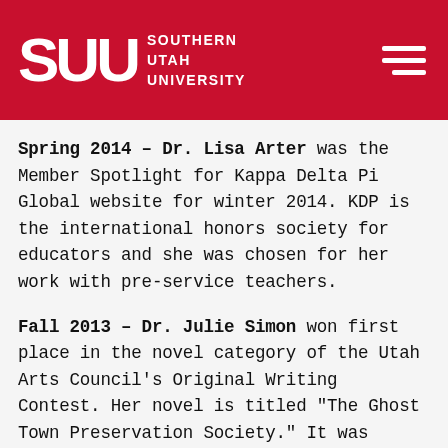SUU SOUTHERN UTAH UNIVERSITY
Spring 2014 - Dr. Lisa Arter was the Member Spotlight for Kappa Delta Pi Global website for winter 2014. KDP is the international honors society for educators and she was chosen for her work with pre-service teachers.
Fall 2013 - Dr. Julie Simon won first place in the novel category of the Utah Arts Council's Original Writing Contest. Her novel is titled "The Ghost Town Preservation Society." It was judged by Brian Evenson who had the following commentary about the book:
"A complex story about the relationship of the